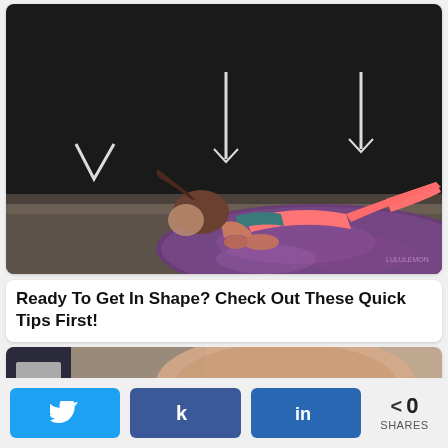[Figure (photo): Woman in pink athletic wear doing a plank exercise on a round purple galaxy-print mat on a concrete floor, against a dark background with white chevron/arrow overlays]
Ready To Get In Shape? Check Out These Quick Tips First!
[Figure (photo): Partially visible second article image showing what appears to be skin or body texture against a beige/grey background]
< 0 SHARES
[Figure (infographic): Social share bar with Twitter, Facebook (k icon), and LinkedIn (in) buttons, and a share count showing 0 SHARES]